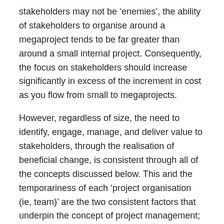stakeholders may not be 'enemies', the ability of stakeholders to organise around a megaproject tends to be far greater than around a small internal project. Consequently, the focus on stakeholders should increase significantly in excess of the increment in cost as you flow from small to megaprojects.
However, regardless of size, the need to identify, engage, manage, and deliver value to stakeholders, through the realisation of beneficial change, is consistent through all of the concepts discussed below. This and the temporariness of each 'project organisation (ie, team)' are the two consistent factors that underpin the concept of project management; and 'temporariness' is the key factor that separates projects and programs from other forms of management and 'business as usual'.